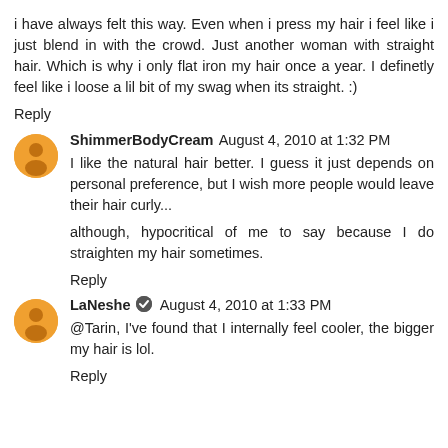i have always felt this way. Even when i press my hair i feel like i just blend in with the crowd. Just another woman with straight hair. Which is why i only flat iron my hair once a year. I definetly feel like i loose a lil bit of my swag when its straight. :)
Reply
ShimmerBodyCream  August 4, 2010 at 1:32 PM
I like the natural hair better. I guess it just depends on personal preference, but I wish more people would leave their hair curly...
although, hypocritical of me to say because I do straighten my hair sometimes.
Reply
LaNeshe  August 4, 2010 at 1:33 PM
@Tarin, I've found that I internally feel cooler, the bigger my hair is lol.
Reply